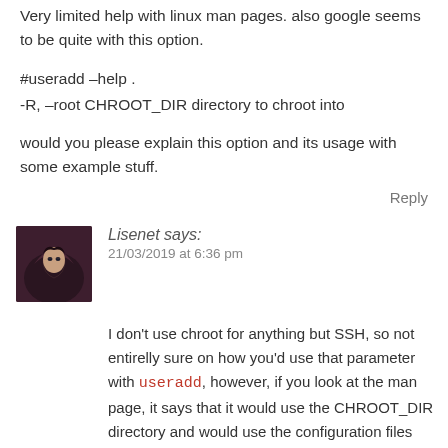Very limited help with linux man pages. also google seems to be quite with this option.
#useradd –help .
-R, –root CHROOT_DIR directory to chroot into
would you please explain this option and its usage with some example stuff.
Reply
[Figure (photo): Avatar of user Lisenet, showing a hooded figure with dark hair.]
Lisenet says:
21/03/2019 at 6:36 pm
I don't use chroot for anything but SSH, so not entirelly sure on how you'd use that parameter with useradd, however, if you look at the man page, it says that it would use the CHROOT_DIR directory and would use the configuration files from the CHROOT_DIR directory. This suggests that the command expects to find an existing CHROOT_DIR directory. Have you created one